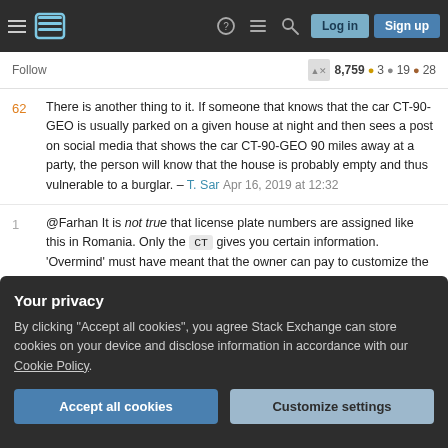Stack Exchange navigation bar with Log in and Sign up buttons
Follow  8,759  3  19  28
62  There is another thing to it. If someone that knows that the car CT-90-GEO is usually parked on a given house at night and then sees a post on social media that shows the car CT-90-GEO 90 miles away at a party, the person will know that the house is probably empty and thus vulnerable to a burglar. – T. Sar Apr 16, 2019 at 12:32
1  @Farhan It is not true that license plate numbers are assigned like this in Romania. Only the CT gives you certain information. 'Overmind' must have meant that the owner can pay to customize the other letters/digits
Your privacy
By clicking "Accept all cookies", you agree Stack Exchange can store cookies on your device and disclose information in accordance with our Cookie Policy.
Accept all cookies   Customize settings
Comments are not for extended discussion; this